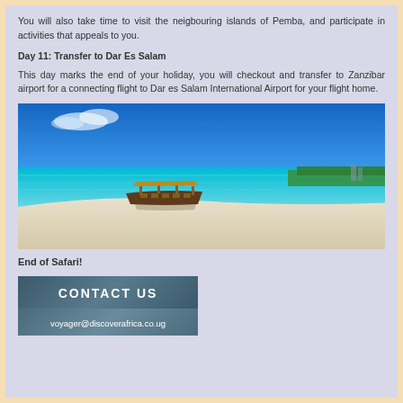You will also take time to visit the neigbouring islands of Pemba, and participate in activities that appeals to you.
Day 11: Transfer to Dar Es Salam
This day marks the end of your holiday, you will checkout and transfer to Zanzibar airport for a connecting flight to Dar es Salam International Airport for your flight home.
[Figure (photo): A tropical beach scene with turquoise water, white sand, and a wooden boat moored in the shallow water. Lush green vegetation visible in the background on the right side under a bright blue sky.]
End of Safari!
CONTACT  US
voyager@discoverafrica.co.ug